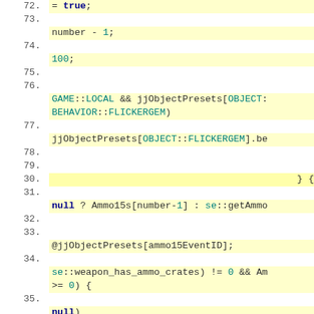[Figure (screenshot): Source code viewer showing lines 72-86 of code with yellow highlighted background. Code contains C++ style syntax with keywords like GAME::LOCAL, jjObjectPresets, BEHAVIOR::FLICKERGEM, Ammo15s, se::getAmmo, weapon_has_ammo_crates, etc.]